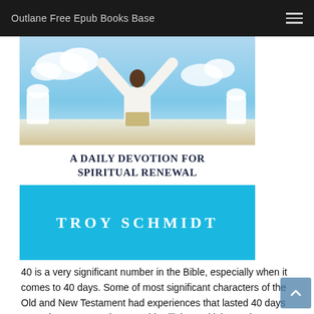Outlane Free Epub Books Base
[Figure (photo): Book cover for 'A Daily Devotion for Spiritual Renewal' by Troy Schmidt. Top portion shows a photo of a person with arms raised against a blue sky with clouds. Below the photo is the title text 'A DAILY DEVOTION FOR SPIRITUAL RENEWAL' in dark navy on white background, and the author name 'TROY SCHMIDT' in white letters on a bright blue/cyan background.]
40 is a very significant number in the Bible, especially when it comes to 40 days. Some of most significant characters of the Old and New Testament had experiences that lasted 40 days—Noah, Moses, Joshua, David, Elijah, Ezekiel, Jonah, Jesus. What